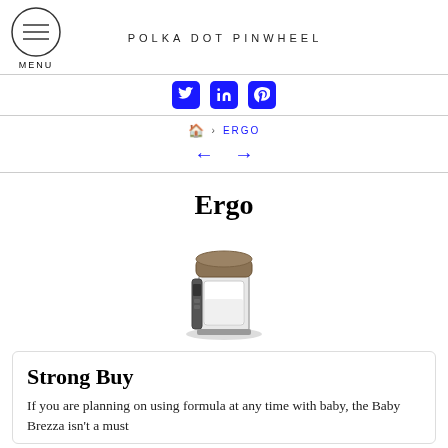POLKA DOT PINWHEEL
[Figure (logo): Circle menu icon with horizontal lines, labeled MENU]
[Figure (infographic): Social media icons: Twitter, LinkedIn, Pinterest in blue rounded squares]
🏠 › ERGO
← →
Ergo
[Figure (photo): Baby Brezza formula maker machine, silver and transparent, with white powder/liquid inside]
Strong Buy
If you are planning on using formula at any time with baby, the Baby Brezza isn't a must